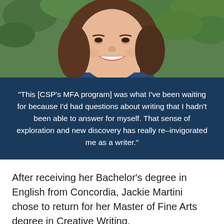[Figure (photo): Close-up photo of a smiling woman with brown hair against a green leafy background outdoors]
"This [CSP's MFA program] was what I've been waiting for because I'd had questions about writing that I hadn't been able to answer for myself. That sense of exploration and new discovery has really re–invigorated me as a writer."
After receiving her Bachelor's degree in English from Concordia, Jackie Martini chose to return for her Master of Fine Arts degree in Creative Writing.
“I wanted to continue to hone my skills in the craft of writing,” she explained. Martini’s love for